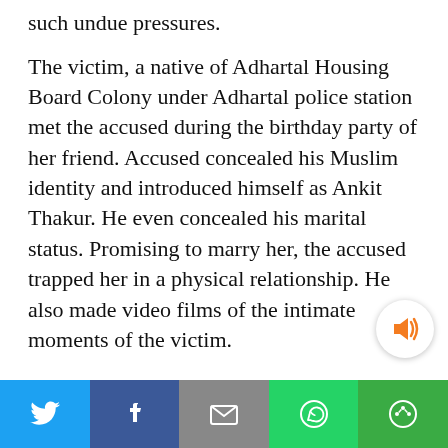such undue pressures.
The victim, a native of Adhartal Housing Board Colony under Adhartal police station met the accused during the birthday party of her friend. Accused concealed his Muslim identity and introduced himself as Ankit Thakur. He even concealed his marital status. Promising to marry her, the accused trapped her in a physical relationship. He also made video films of the intimate moments of the victim.
Through her friends, she discovered the real identity of the accused and his marital status
[Figure (other): Sound/audio button icon (orange speaker with sound waves) in a white circular button]
Social share bar with Twitter, Facebook, Email, WhatsApp, and other sharing buttons